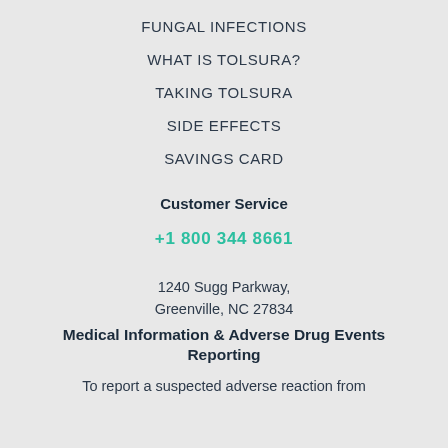FUNGAL INFECTIONS
WHAT IS TOLSURA?
TAKING TOLSURA
SIDE EFFECTS
SAVINGS CARD
Customer Service
+1 800 344 8661
1240 Sugg Parkway,
Greenville, NC 27834
Medical Information & Adverse Drug Events Reporting
To report a suspected adverse reaction from